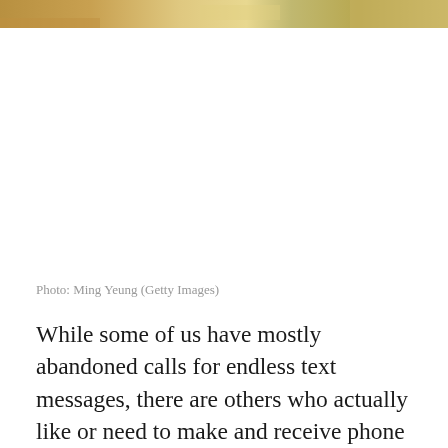[Figure (photo): Partial photo strip at top of page showing a blurred warm-toned image, partially cropped]
Photo: Ming Yeung (Getty Images)
While some of us have mostly abandoned calls for endless text messages, there are others who actually like or need to make and receive phone calls. That’s kind of hard to do with some iPhone 12 and iPhone 12 Pro models right now though, which Apple says emit no sound when people make or receive calls. Good news is